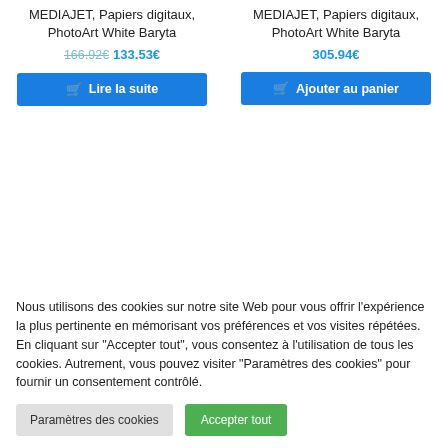MEDIAJET, Papiers digitaux, PhotoArt White Baryta
166.92€ 133.53€
Lire la suite
MEDIAJET, Papiers digitaux, PhotoArt White Baryta
305.94€
Ajouter au panier
Nous utilisons des cookies sur notre site Web pour vous offrir l'expérience la plus pertinente en mémorisant vos préférences et vos visites répétées. En cliquant sur "Accepter tout", vous consentez à l'utilisation de tous les cookies. Autrement, vous pouvez visiter "Paramètres des cookies" pour fournir un consentement contrôlé.
Paramètres des cookies
Accepter tout